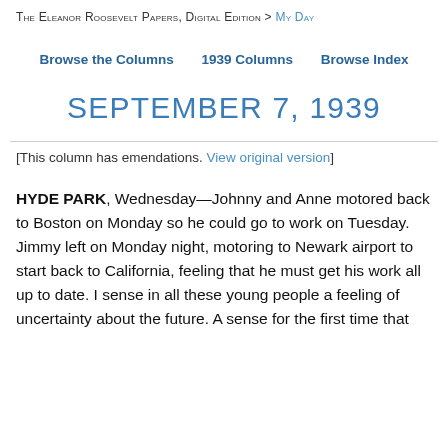The Eleanor Roosevelt Papers, Digital Edition > My Day
Browse the Columns   1939 Columns   Browse Index
SEPTEMBER 7, 1939
[This column has emendations. View original version]
HYDE PARK, Wednesday—Johnny and Anne motored back to Boston on Monday so he could go to work on Tuesday. Jimmy left on Monday night, motoring to Newark airport to start back to California, feeling that he must get his work all up to date. I sense in all these young people a feeling of uncertainty about the future. A sense for the first time that